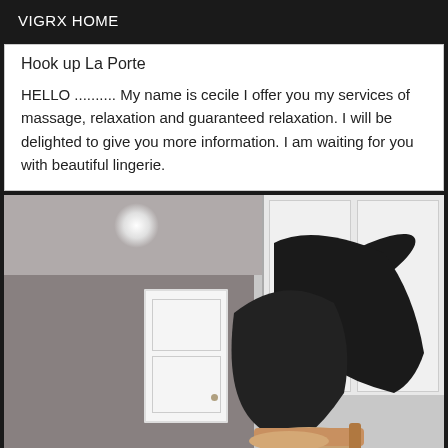VIGRX HOME
Hook up La Porte
HELLO .......... My name is cecile I offer you my services of massage, relaxation and guaranteed relaxation. I will be delighted to give you more information. I am waiting for you with beautiful lingerie.
[Figure (photo): Interior room photo showing a person's legs in dark stockings and high heels, with a white door and white wardrobe visible in the background against grey walls]